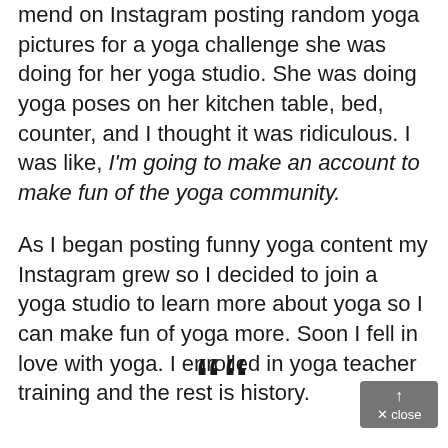mend on Instagram posting random yoga pictures for a yoga challenge she was doing for her yoga studio. She was doing yoga poses on her kitchen table, bed, counter, and I thought it was ridiculous. I was like, I'm going to make an account to make fun of the yoga community.
As I began posting funny yoga content my Instagram grew so I decided to join a yoga studio to learn more about yoga so I can make fun of yoga more. Soon I fell in love with yoga. I enrolled in yoga teacher training and the rest is history.
[Figure (illustration): Large decorative opening quotation marks (““) centered near the bottom of the page]